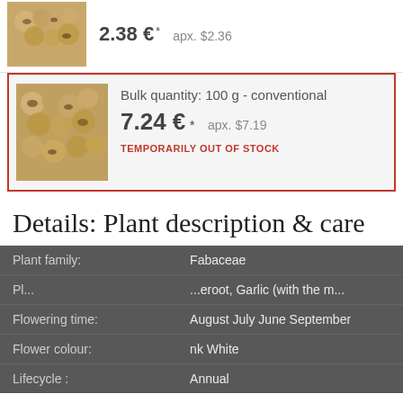2.38 € * apx. $2.36
Bulk quantity: 100 g - conventional
7.24 € * apx. $7.19
TEMPORARILY OUT OF STOCK
Details: Plant description & care
| Property | Value |
| --- | --- |
| Plant family: | Fabaceae |
| Pl... (hidden) | ... Garlic (with the most ... |
| Flowering time: | August July June September |
| Flower colour: | nk White |
| Lifecycle : | Annual |
This online shop requires a cookie to provide you with the most comfortable shopping experience possible. You can find more about this in the Privacy policy.